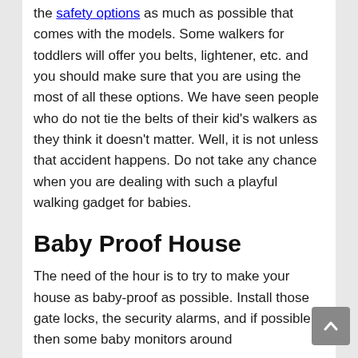the safety options as much as possible that comes with the models. Some walkers for toddlers will offer you belts, lightener, etc. and you should make sure that you are using the most of all these options. We have seen people who do not tie the belts of their kid's walkers as they think it doesn't matter. Well, it is not unless that accident happens. Do not take any chance when you are dealing with such a playful walking gadget for babies.
Baby Proof House
The need of the hour is to try to make your house as baby-proof as possible. Install those gate locks, the security alarms, and if possible, then some baby monitors around